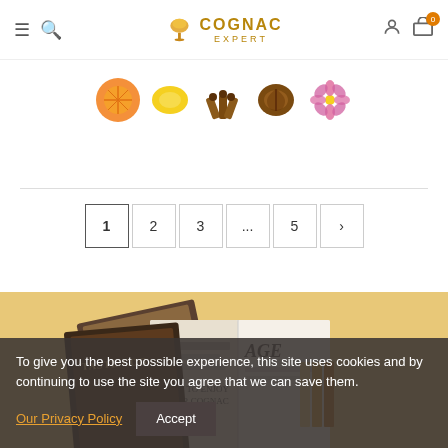Cognac Expert — navigation header with hamburger menu, search, logo, user icon, and cart
[Figure (photo): Row of ingredient/flavor images: orange slice, other fruits/spices, walnut, flower]
[Figure (other): Pagination controls: pages 1, 2, 3, ..., 5, next arrow]
[Figure (photo): Sandy tan background section with magazine books showing 'Taste Cognac' and 'Age' covers fanned open]
To give you the best possible experience, this site uses cookies and by continuing to use the site you agree that we can save them.
Our Privacy Policy
Accept